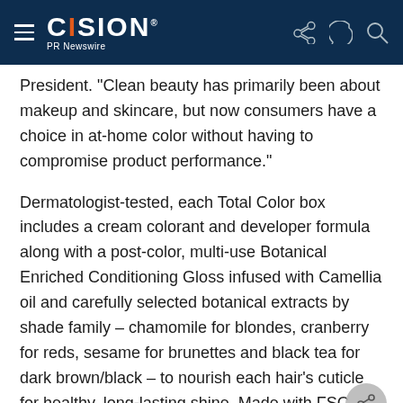CISION PR Newswire
President. "Clean beauty has primarily been about makeup and skincare, but now consumers have a choice in at-home color without having to compromise product performance."
Dermatologist-tested, each Total Color box includes a cream colorant and developer formula along with a post-color, multi-use Botanical Enriched Conditioning Gloss infused with Camellia oil and carefully selected botanical extracts by shade family – chamomile for blondes, cranberry for reds, sesame for brunettes and black tea for dark brown/black – to nourish each hair's cuticle for healthy, long-lasting shine. Made with FSC Certified Material, the carton